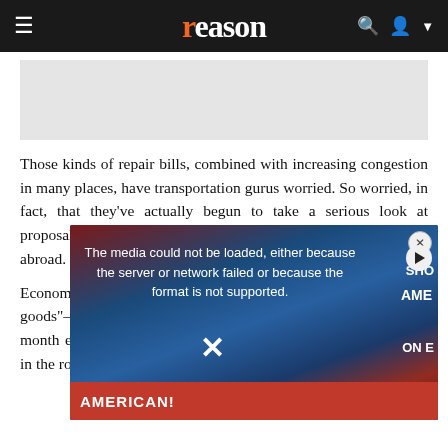reason
[Figure (photo): Gray placeholder image area]
Those kinds of repair bills, combined with increasing congestion in many places, have transportation gurus worried. So worried, in fact, that they've actually begun to take a serious look at proposals for privatizing roads, both in the United States and abroad.
Economists usually consider roads classic examples of "public goods"– ... impossible to ex... therefore unlike... technology has ... six-month exper... example, attach... when the cars passed over sensors in the road, the
[Figure (screenshot): Video player overlay showing error message: The media could not be loaded, either because the server or network failed or because the format is not supported. Background shows protest photo with signs reading AMERICAN, JOIN, AME, ON E, SHO. Red banner at bottom reads AMERICAN!]